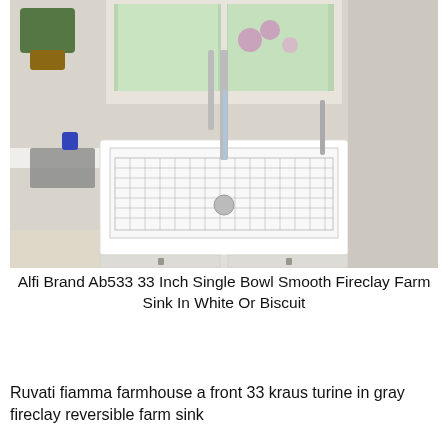[Figure (photo): A white fireclay farmhouse apron-front sink installed in a kitchen, with a wire grid inside the basin, a tall professional-style faucet running water, dish drying mat on the left countertop, and cabinets with bar-pull hardware below. A window with garden view is in the background.]
Alfi Brand Ab533 33 Inch Single Bowl Smooth Fireclay Farm Sink In White Or Biscuit
Ruvati fiamma farmhouse a front 33 kraus turine in gray fireclay reversible farm sink